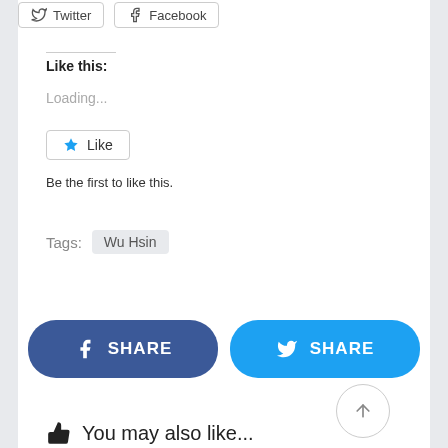[Figure (screenshot): Twitter and Facebook share buttons at top of page]
Like this:
Loading...
[Figure (screenshot): Like button with star icon]
Be the first to like this.
Tags:  Wu Hsin
[Figure (screenshot): Facebook SHARE button and Twitter SHARE button]
[Figure (screenshot): Scroll to top circular button with upward arrow]
You may also like...